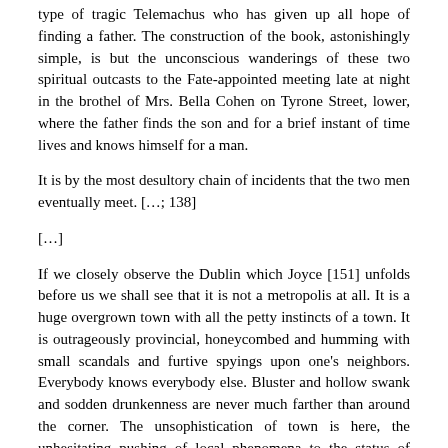type of tragic Telemachus who has given up all hope of finding a father. The construction of the book, astonishingly simple, is but the unconscious wanderings of these two spiritual outcasts to the Fate-appointed meeting late at night in the brothel of Mrs. Bella Cohen on Tyrone Street, lower, where the father finds the son and for a brief instant of time lives and knows himself for a man.
It is by the most desultory chain of incidents that the two men eventually meet. […; 138]
[…]
If we closely observe the Dublin which Joyce [151] unfolds before us we shall see that it is not a metropolis at all. It is a huge overgrown town with all the petty instincts of a town. It is outrageously provincial, honeycombed and humming with small scandals and furtive spyings upon one's neighbors. Everybody knows everybody else. Bluster and hollow swank and sodden drunkenness are never much farther than around the corner. The unsophistication of town is here, the unhesitating pushing of local phenomena to the status of universal interest. For many of these people the world is bounded by the Hill of Howth and Dalkey. Just how true this is some other Dubliner must demonstrate. But viewed from the outside and with the application of a cursory knowledge it would seem to be but partially true. Dublin , after all, is the mouth of Ireland ; through it the island speaks. There is a concentrated nationality here which viewed from a certain attitude of mind actually might, seem to resemble provincialism. Years of political subjugation and unresting conspiracy on the part of a proportion of the intelligentsia might easily distort the point of view of even the most balanced tradition and ambition [159]